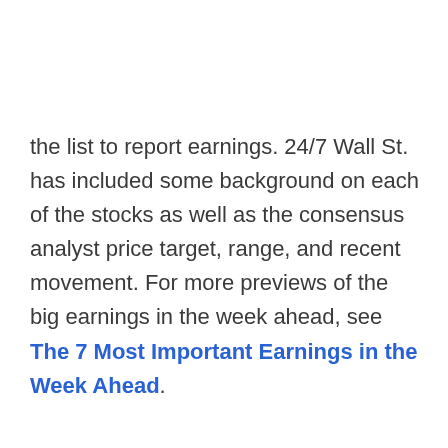the list to report earnings. 24/7 Wall St. has included some background on each of the stocks as well as the consensus analyst price target, range, and recent movement. For more previews of the big earnings in the week ahead, see The 7 Most Important Earnings in the Week Ahead.